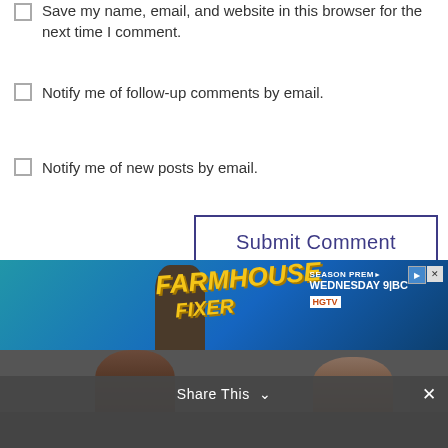Save my name, email, and website in this browser for the next time I comment.
Notify me of follow-up comments by email.
Notify me of new posts by email.
Submit Comment
[Figure (screenshot): HGTV Farmhouse Fixer Season Premiere advertisement banner with photos of show hosts]
Share This